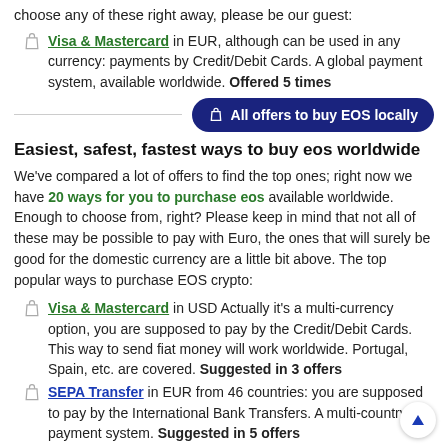choose any of these right away, please be our guest:
Visa & Mastercard in EUR, although can be used in any currency: payments by Credit/Debit Cards. A global payment system, available worldwide. Offered 5 times
All offers to buy EOS locally
Easiest, safest, fastest ways to buy eos worldwide
We've compared a lot of offers to find the top ones; right now we have 20 ways for you to purchase eos available worldwide. Enough to choose from, right? Please keep in mind that not all of these may be possible to pay with Euro, the ones that will surely be good for the domestic currency are a little bit above. The top popular ways to purchase EOS crypto:
Visa & Mastercard in USD Actually it's a multi-currency option, you are supposed to pay by the Credit/Debit Cards. This way to send fiat money will work worldwide. Portugal, Spain, etc. are covered. Suggested in 3 offers
SEPA Transfer in EUR from 46 countries: you are supposed to pay by the International Bank Transfers. A multi-country payment system. Suggested in 5 offers
SWIFT Transfer in EUR Actually it's a multi-currency option, you are supposed to pay by the International Bank Transfers. This way to send fiat money will work